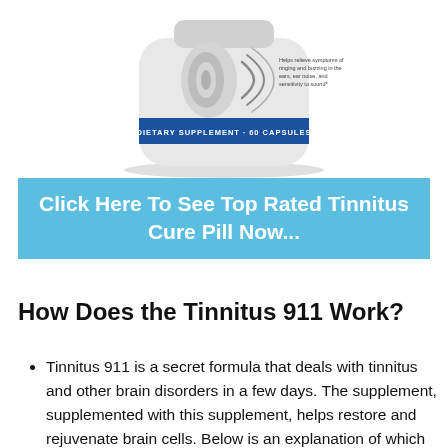[Figure (photo): White cylindrical dietary supplement bottle with an ear graphic and sound waves on the label. Blue band reads 'DIETARY SUPPLEMENT - 60 CAPSULES'. Label text: 'Helps relieve symptoms of ringing and buzzing in the ears, ear noise, and sensitivity to sound.']
Click Here To See Top Rated Tinnitus Cure Pill Now...
How Does the Tinnitus 911 Work?
Tinnitus 911 is a secret formula that deals with tinnitus and other brain disorders in a few days. The supplement, supplemented with this supplement, helps restore and rejuvenate brain cells. Below is an explanation of which